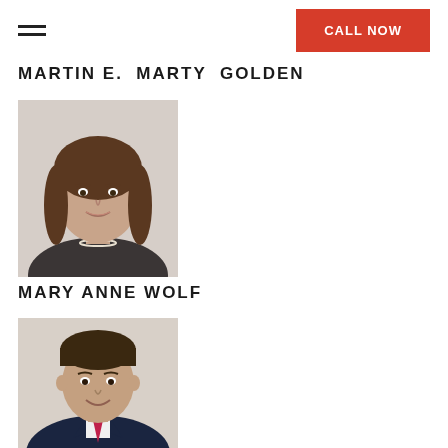MARTIN E. MARTY GOLDEN
MARTIN E. MARTY GOLDEN
[Figure (photo): Professional headshot of Mary Anne Wolf, a woman with shoulder-length brown hair, wearing a dark jacket and pearl necklace, smiling.]
MARY ANNE WOLF
[Figure (photo): Professional headshot of a man in a navy suit with a pink/magenta tie, smiling, short dark hair.]